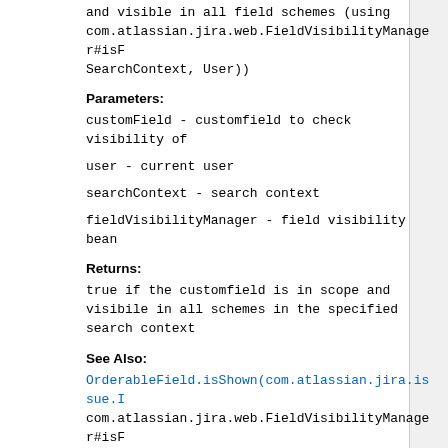and visible in all field schemes (using com.atlassian.jira.web.FieldVisibilityManager#isF SearchContext, User))
Parameters:
customField - customfield to check visibility of
user - current user
searchContext - search context
fieldVisibilityManager - field visibility bean
Returns:
true if the customfield is in scope and visibile in all schemes in the specified search context
See Also:
OrderableField.isShown(com.atlassian.jira.issue.I com.atlassian.jira.web.FieldVisibilityManager#isF com.atlassian.jira.issue.search.SearchContext, User)